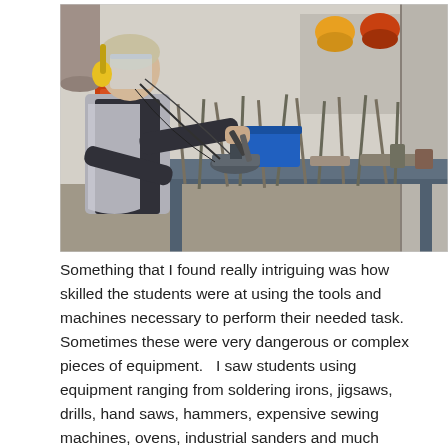[Figure (photo): A young student wearing yellow ear protection and a face shield uses tools at a cluttered metal workshop workbench. Various welding equipment, metal rods, and tools are visible. Welding helmets hang on the wall in the background.]
Something that I found really intriguing was how skilled the students were at using the tools and machines necessary to perform their needed task.   Sometimes these were very dangerous or complex pieces of equipment.   I saw students using equipment ranging from soldering irons, jigsaws, drills, hand saws, hammers, expensive sewing machines, ovens, industrial sanders and much more.